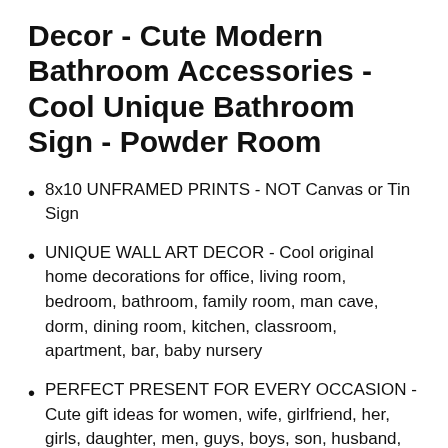Decor - Cute Modern Bathroom Accessories - Cool Unique Bathroom Sign - Powder Room
8x10 UNFRAMED PRINTS - NOT Canvas or Tin Sign
UNIQUE WALL ART DECOR - Cool original home decorations for office, living room, bedroom, bathroom, family room, man cave, dorm, dining room, kitchen, classroom, apartment, bar, baby nursery
PERFECT PRESENT FOR EVERY OCCASION - Cute gift ideas for women, wife, girlfriend, her, girls, daughter, men, guys, boys, son, husband, boyfriend, him, kids, teens, best friend, cat lover, Christmas, Xmas,